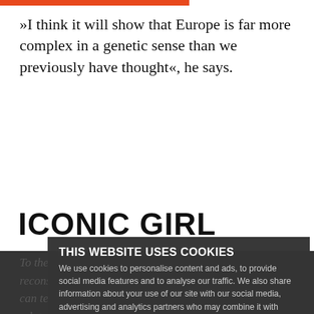»I think it will show that Europe is far more complex in a genetic sense than we previously have thought«, he says.
ICONIC GIRL
To the University Post he explains that if the reconstruction is successful, the Egtved girl's genome can tell us how many of us Northern Europeans are related to her.
THIS WEBSITE USES COOKIES
We use cookies to personalise content and ads, to provide social media features and to analyse our traffic. We also share information about your use of our site with our social media, advertising and analytics partners who may combine it with other information that you've provided to them or that they've collected from your use of their services.
Necessary ? Preferences ? Statistics ? Marketing ?